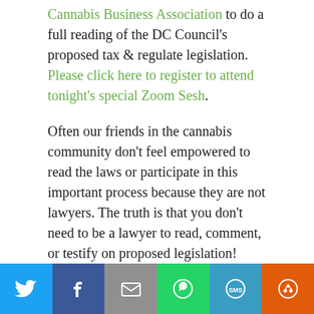Cannabis Business Association to do a full reading of the DC Council's proposed tax & regulate legislation. Please click here to register to attend tonight's special Zoom Sesh.
Often our friends in the cannabis community don't feel empowered to read the laws or participate in this important process because they are not lawyers. The truth is that you don't need to be a lawyer to read, comment, or testify on proposed legislation!  More importantly, we will have at least one lawyer on hand tonight during our reading to help everyone interpret the legislation.  This is your chance to help craft DCMJ's testimony at next
[Figure (infographic): Social share bar with icons for Twitter, Facebook, Email, WhatsApp, SMS, and More (share) buttons]